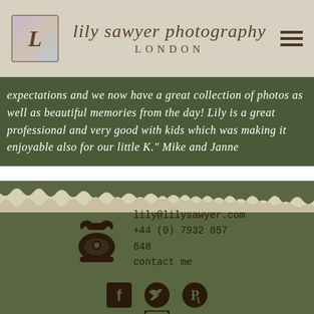lily sawyer photography LONDON
expectations and we now have a great collection of photos as well as beautiful memories from the day! Lily is a great professional and very good with kids which was making it enjoyable also for our little K." Mike and Janne
[Figure (illustration): Vintage rotary telephone icon in dark brown]
lily@lilysawyer.com
+44 (0) 7932 057 648
contact me
[Figure (infographic): Social media icons: Facebook, Twitter, Pinterest, Instagram]
© 2009-2022
privacy
sitemap